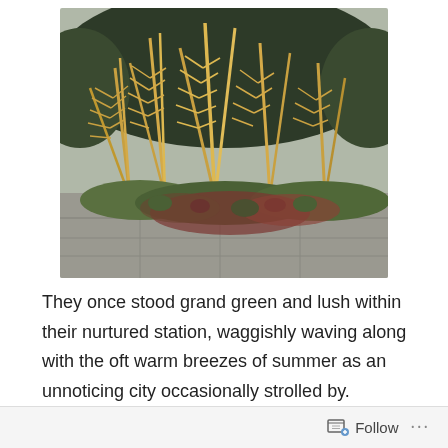[Figure (photo): Photograph of autumn ferns with golden-brown fronds standing tall above a stone garden wall, with smaller reddish-green groundcover plants at the base. Background shows dark green shrubs.]
They once stood grand green and lush within their nurtured station, waggishly waving along with the oft warm breezes of summer as an unnoticing city occasionally strolled by.
It was now approaching sleepy season, so the caboodle
Follow ...